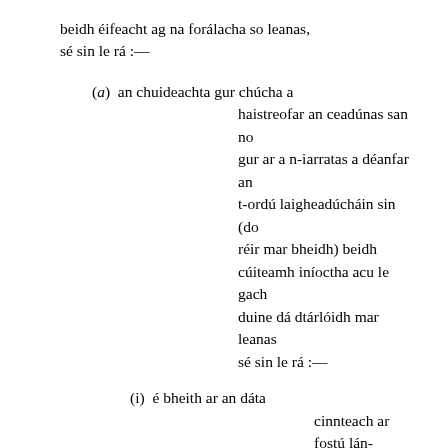beidh éifeacht ag na forálacha so leanas, sé sin le rá :—
(a) an chuideachta gur chúcha a haistreofar an ceadúnas san no gur ar a n-iarratas a déanfar an t-ordú laigheadúcháin sin (do réir mar bheidh) beidh cúiteamh iníoctha acu le gach duine dá dtárlóidh mar leanas sé sin le rá :—
(i) é bheith ar an dáta cinnteach ar fostú lán-aimsire ag an duine ba cheadúnaí fén gceadúnas san in oibriúchán na bhfeithiclí do bhí á n-úsáid chun crícheanna an ghnótha a húdaruítear leis an gceadúnas san do bheith ar siúl agus é bheith ar fostú amhlaidh go